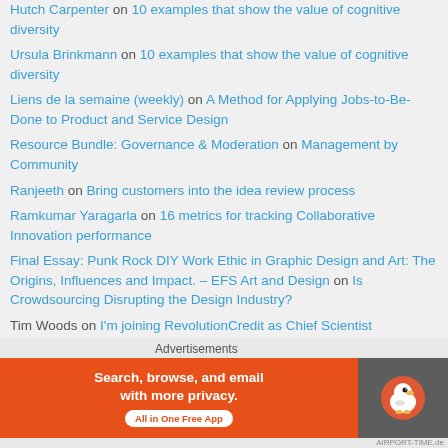Hutch Carpenter on 10 examples that show the value of cognitive diversity
Ursula Brinkmann on 10 examples that show the value of cognitive diversity
Liens de la semaine (weekly) on A Method for Applying Jobs-to-Be-Done to Product and Service Design
Resource Bundle: Governance & Moderation on Management by Community
Ranjeeth on Bring customers into the idea review process
Ramkumar Yaragarla on 16 metrics for tracking Collaborative Innovation performance
Final Essay: Punk Rock DIY Work Ethic in Graphic Design and Art: The Origins, Influences and Impact. – EFS Art and Design on Is Crowdsourcing Disrupting the Design Industry?
Tim Woods on I'm joining RevolutionCredit as Chief Scientist
Samuel Driessen (@driessen) on I'm joining RevolutionCredit as Chief Scientist
Advertisements
[Figure (other): DuckDuckGo advertisement banner: orange background with text 'Search, browse, and email with more privacy. All in One Free App' and DuckDuckGo logo on dark background]